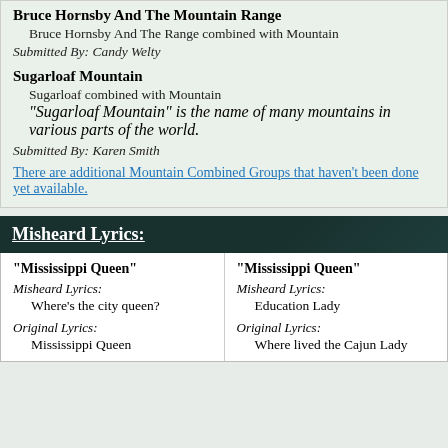Bruce Hornsby And The Mountain Range
Bruce Hornsby And The Range combined with Mountain
Submitted By: Candy Welty
Sugarloaf Mountain
Sugarloaf combined with Mountain
"Sugarloaf Mountain" is the name of many mountains in various parts of the world.
Submitted By: Karen Smith
There are additional Mountain Combined Groups that haven't been done yet available.
Misheard Lyrics:
"Mississippi Queen" Misheard Lyrics: Where's the city queen? Original Lyrics: Mississippi Queen
"Mississippi Queen" Misheard Lyrics: Education Lady Original Lyrics: Where lived the Cajun Lady